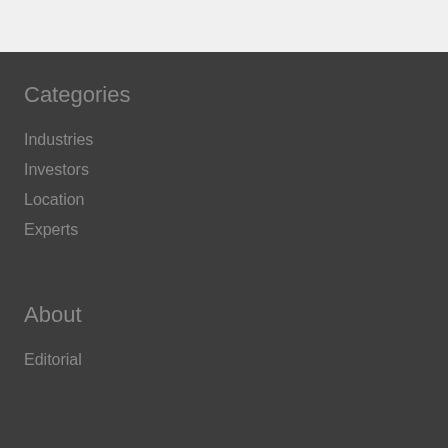Categories
Industries
Investors
Location
Experts
About
Editorial